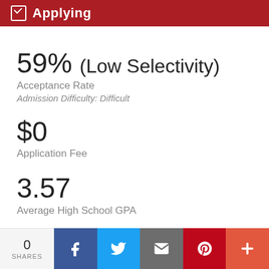Applying
59% (Low Selectivity)
Acceptance Rate
Admission Difficulty: Difficult
$0
Application Fee
3.57
Average High School GPA
0 SHARES | Facebook | Twitter | Email | Pinterest | More